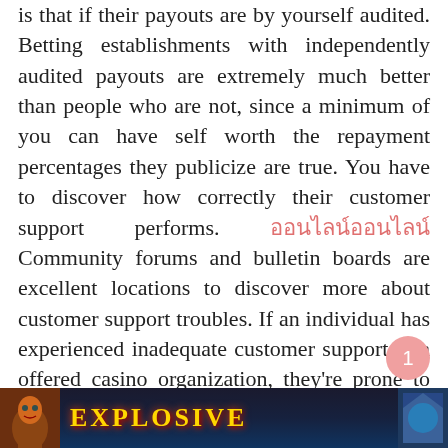is that if their payouts are by yourself audited. Betting establishments with independently audited payouts are extremely much better than people who are not, since a minimum of you can have self worth the repayment percentages they publicize are true. You have to discover how correctly their customer support performs. [link text] Community forums and bulletin boards are excellent locations to discover more about customer support troubles. If an individual has experienced inadequate customer support in a offered casino organization, they're prone to permit everyone recognize regarding this on the web.
[Figure (illustration): Casino game banner with 'EXPLOSIVE' text in golden letters on a dark fantasy background with character on the left side]